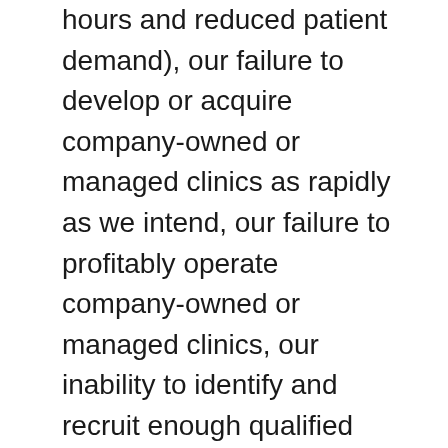hours and reduced patient demand), our failure to develop or acquire company-owned or managed clinics as rapidly as we intend, our failure to profitably operate company-owned or managed clinics, our inability to identify and recruit enough qualified chiropractors and other personnel to staff our clinics, due in part to the nationwide labor shortage, and the other factors described in “Risk Factors” in our Annual Report on Form 10-K as filed with the SEC for the year ended December 31, 2021, as updated or revised for any material changes described in any subsequently-filed Quarterly Reports on Form 10-Q or other SEC filings. Words such as, “anticipates,” “believes,” “continues,” “estimates,” “expects,” “goal,” “objectives,” “intends,” “may,” “opportunity,” “plans,” “potential,” “near-term,” “long-term,” “projections,”